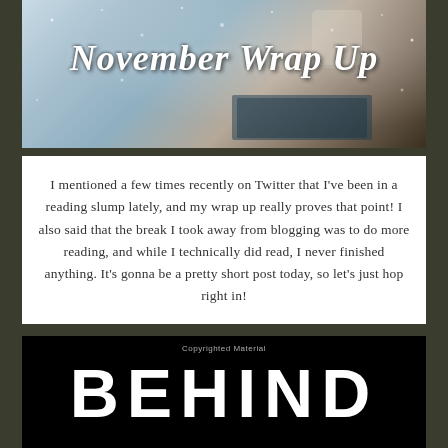[Figure (photo): Winter-themed banner image with a mug and book in snowy setting, overlaid with cursive text reading 'November Wrap Up']
I mentioned a few times recently on Twitter that I've been in a reading slump lately, and my wrap up really proves that point! I also said that the break I took away from blogging was to do more reading, and while I technically did read, I never finished anything. It's gonna be a pretty short post today, so let's just hop right in!
[Figure (photo): Book cover image with black background showing the word 'BEHIND' in large bold white letters, with 'Copyrighted Material' text above]